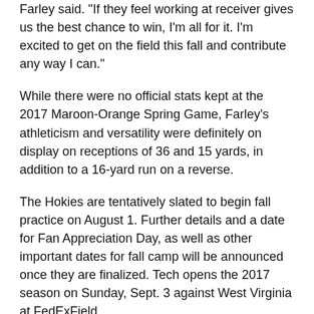Farley said. "If they feel working at receiver gives us the best chance to win, I'm all for it. I'm excited to get on the field this fall and contribute any way I can."
While there were no official stats kept at the 2017 Maroon-Orange Spring Game, Farley's athleticism and versatility were definitely on display on receptions of 36 and 15 yards, in addition to a 16-yard run on a reverse.
The Hokies are tentatively slated to begin fall practice on August 1. Further details and a date for Fan Appreciation Day, as well as other important dates for fall camp will be announced once they are finalized. Tech opens the 2017 season on Sunday, Sept. 3 against West Virginia at FedExField.
— Courtesy of VT Athletics